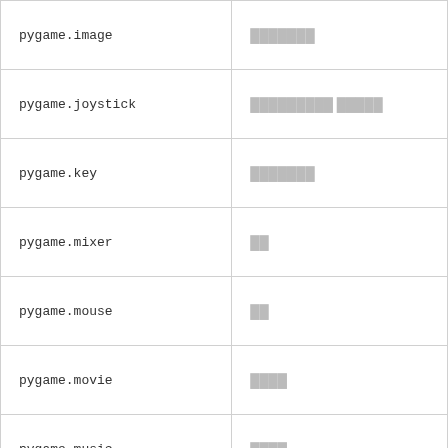| Module | Description |
| --- | --- |
| pygame.image | ███████ |
| pygame.joystick | █████████ █████ |
| pygame.key | ███████ |
| pygame.mixer | ██ |
| pygame.mouse | ██ |
| pygame.movie | ████ |
| pygame.music | ████ |
| pygame.overlay | ████████ |
| pygame | ████████████...... |
| pygame.rect | ███████ |